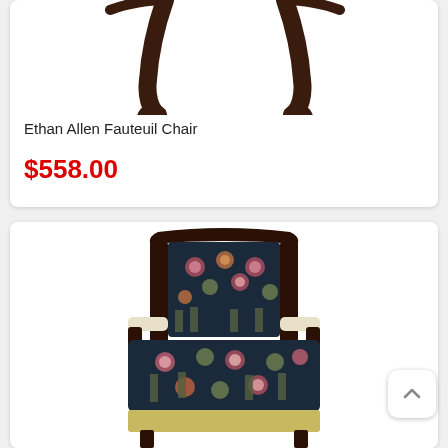[Figure (photo): Top portion of an Ethan Allen Fauteuil Chair showing dark wood carved legs against a white background]
Ethan Allen Fauteuil Chair
$558.00
[Figure (photo): Ethan Allen Fauteuil armchair with dark navy blue floral tapestry upholstery featuring pink and white flowers with potted plants pattern, carved dark wood frame]